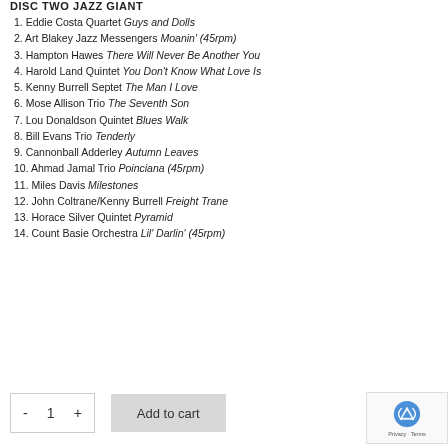DISC TWO JAZZ GIANT
1. Eddie Costa Quartet Guys and Dolls
2. Art Blakey Jazz Messengers Moanin' (45rpm)
3. Hampton Hawes There Will Never Be Another You
4. Harold Land Quintet You Don't Know What Love Is
5. Kenny Burrell Septet The Man I Love
6. Mose Allison Trio The Seventh Son
7. Lou Donaldson Quintet Blues Walk
8. Bill Evans Trio Tenderly
9. Cannonball Adderley Autumn Leaves
10. Ahmad Jamal Trio Poinciana (45rpm)
11. Miles Davis Milestones
12. John Coltrane/Kenny Burrell Freight Trane
13. Horace Silver Quintet Pyramid
14. Count Basie Orchestra Lil' Darlin' (45rpm)